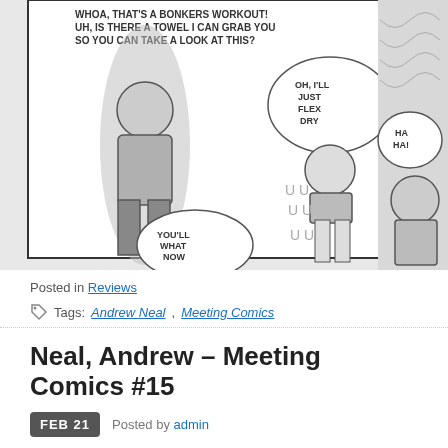[Figure (illustration): Comic strip page showing two panels. Left panel: A character in a dress and boots says 'WHOA, THAT'S A BONKERS WORKOUT! UH, IS THERE A TOWEL I CAN GRAB YOU SO YOU CAN TAKE A LOOK AT THIS?' A sweaty woman in a bikini replies 'OH, I'LL JUST FLEX DRY' and the first character responds 'YOU'LL WHAT NOW'. Right panel: The dressed character laughs 'HA HA!' while apparently reacting.]
Posted in Reviews
Tags: Andrew Neal, Meeting Comics
Neal, Andrew – Meeting Comics #15
FEB 21  Posted by admin